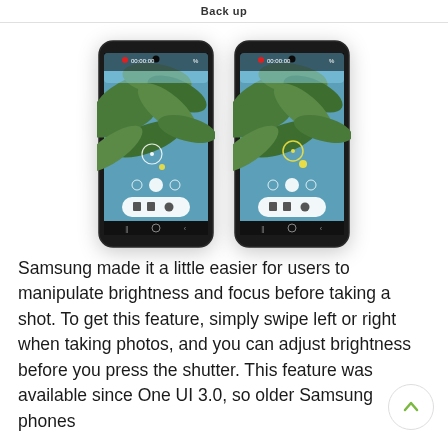Back up
[Figure (screenshot): Two Samsung smartphones side by side showing camera recording interface with palm tree background, playback controls, and brightness/focus adjustment UI]
Samsung made it a little easier for users to manipulate brightness and focus before taking a shot. To get this feature, simply swipe left or right when taking photos, and you can adjust brightness before you press the shutter. This feature was available since One UI 3.0, so older Samsung phones